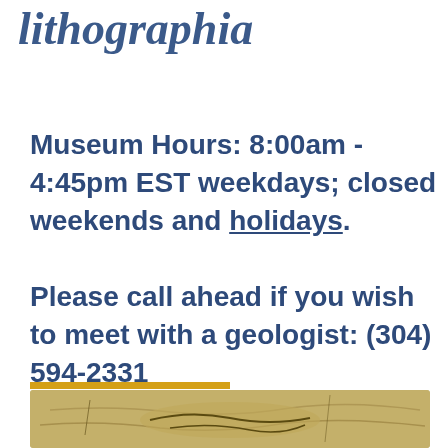Archaeopteryx lithographia
Museum Hours: 8:00am - 4:45pm EST weekdays; closed weekends and holidays.
Please call ahead if you wish to meet with a geologist: (304) 594-2331
[Figure (photo): Fossil specimen of Archaeopteryx lithographia embedded in limestone rock]